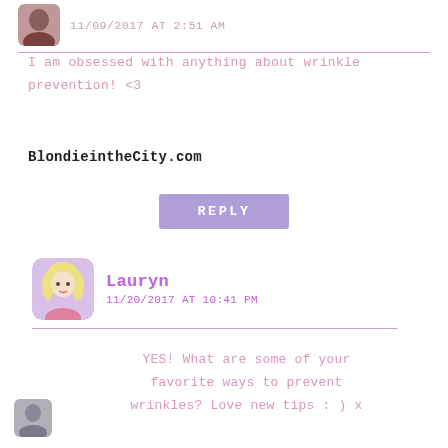11/09/2017 AT 2:51 AM
I am obsessed with anything about wrinkle prevention! <3
BlondieintheCity.com
REPLY
Lauryn
11/20/2017 AT 10:41 PM
YES! What are some of your favorite ways to prevent wrinkles? Love new tips : ) x